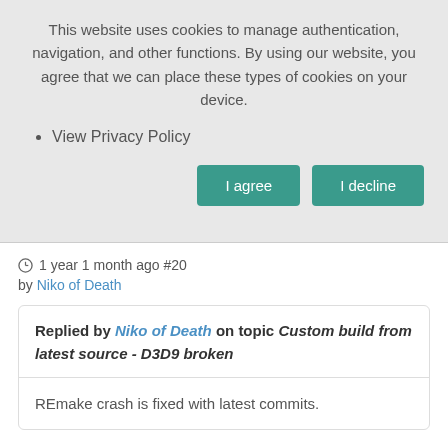This website uses cookies to manage authentication, navigation, and other functions. By using our website, you agree that we can place these types of cookies on your device.
View Privacy Policy
I agree
I decline
1 year 1 month ago #20
by Niko of Death
Replied by Niko of Death on topic Custom build from latest source - D3D9 broken
REmake crash is fixed with latest commits.